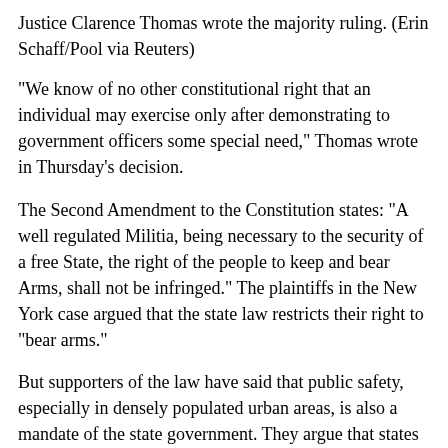Justice Clarence Thomas wrote the majority ruling. (Erin Schaff/Pool via Reuters)
"We know of no other constitutional right that an individual may exercise only after demonstrating to government officers some special need," Thomas wrote in Thursday's decision.
The Second Amendment to the Constitution states: "A well regulated Militia, being necessary to the security of a free State, the right of the people to keep and bear Arms, shall not be infringed." The plaintiffs in the New York case argued that the state law restricts their right to "bear arms."
But supporters of the law have said that public safety, especially in densely populated urban areas, is also a mandate of the state government. They argue that states — rather than the Supreme Court — are better equipped to craft policies that balance gun rights with public safety concerns.
What was unknown was how much the court would allow